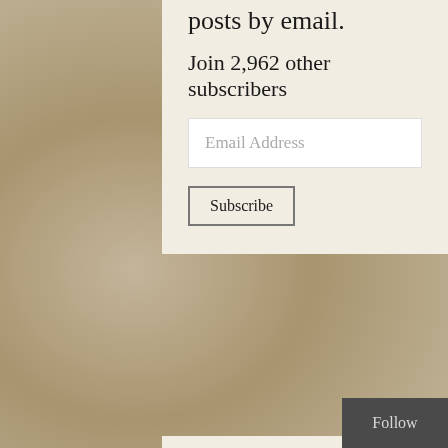posts by email.
Join 2,962 other subscribers
Email Address
Subscribe
Check out...
Bronwyn Watches…
Flash Fiction
Random Personal Shit
Riding in Cars with Boys
Texts from Cait
Follow